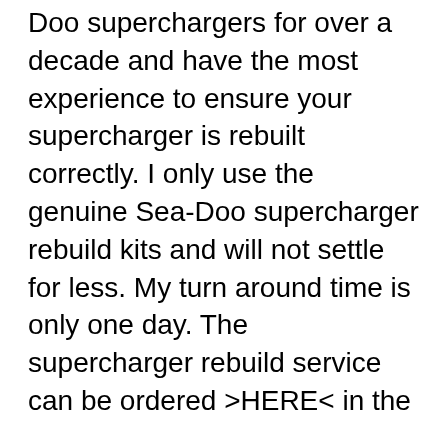Doo superchargers for over a decade and have the most experience to ensure your supercharger is rebuilt correctly. I only use the genuine Sea-Doo supercharger rebuild kits and will not settle for less. My turn around time is only one day. The supercharger rebuild service can be ordered >HERE< in the
RS17140-XXX - RIVA Sea-Doo XXX Supercharger RS17140-XXX SD300 XXX Supercharger.pdf RS17140-TK - RIVA Sea-Doo 300 Intercooler Tubing Upgrade Kit RS17140-TK_Intercooler-Tube-Kit-SD-300-HP.pdf Seado 2004 Sea-Doo Speedster 200 Twin 4-Tec Steering Cable 2005 Sea-Doo Speedster 200 Twin 4-Tec Steering 3:20 Sea Doo Running Flats